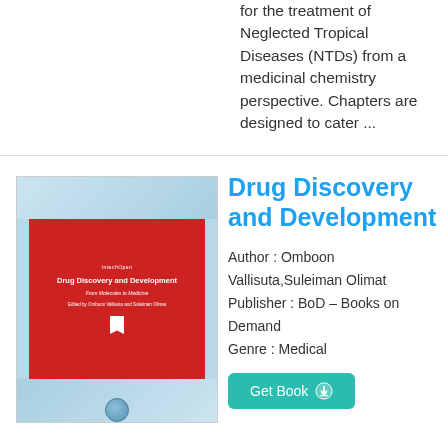for the treatment of Neglected Tropical Diseases (NTDs) from a medicinal chemistry perspective. Chapters are designed to cater ...
[Figure (illustration): Book cover of 'Drug Discovery and Development: From Molecules to Medicine' published by IntechOpen, with red center panel on light blue background]
Drug Discovery and Development
Author : Omboon Vallisuta,Suleiman Olimat
Publisher : BoD – Books on Demand
Genre : Medical
Get Book